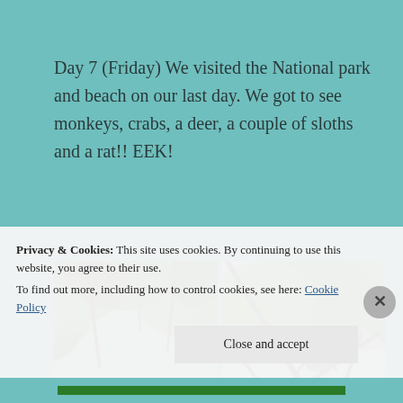Day 7 (Friday) We visited the National park and beach on our last day. We got to see monkeys, crabs, a deer, a couple of sloths and a rat!! EEK!
[Figure (photo): Two side-by-side photos taken from below looking up into tropical tree canopy. Left photo shows a monkey silhouetted on a rooftop with palm trees and sky behind. Right photo shows a small animal (monkey/sloth) clinging to branches of a large-leafed tropical tree against a blue sky.]
Privacy & Cookies: This site uses cookies. By continuing to use this website, you agree to their use.
To find out more, including how to control cookies, see here: Cookie Policy
Close and accept